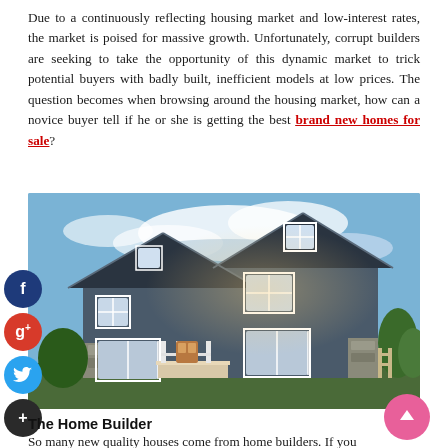Due to a continuously reflecting housing market and low-interest rates, the market is poised for massive growth. Unfortunately, corrupt builders are seeking to take the opportunity of this dynamic market to trick potential buyers with badly built, inefficient models at low prices. The question becomes when browsing around the housing market, how can a novice buyer tell if he or she is getting the best brand new homes for sale?
[Figure (photo): Two-story craftsman-style house with gray siding, white trim, stone accents, and a front porch, photographed at dusk with dramatic clouds.]
The Home Builder
So many new quality houses come from home builders. If you